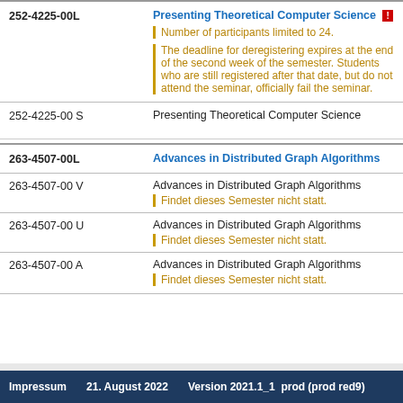| Course ID | Course Title / Description |
| --- | --- |
| 252-4225-00L | Presenting Theoretical Computer Science [limited] |
|  | Number of participants limited to 24. |
|  | The deadline for deregistering expires at the end of the second week of the semester. Students who are still registered after that date, but do not attend the seminar, officially fail the seminar. |
| 252-4225-00 S | Presenting Theoretical Computer Science |
| 263-4507-00L | Advances in Distributed Graph Algorithms |
| 263-4507-00 V | Advances in Distributed Graph Algorithms | Findet dieses Semester nicht statt. |
| 263-4507-00 U | Advances in Distributed Graph Algorithms | Findet dieses Semester nicht statt. |
| 263-4507-00 A | Advances in Distributed Graph Algorithms | Findet dieses Semester nicht statt. |
Impressum   21. August 2022   Version 2021.1_1  prod (prod red9)